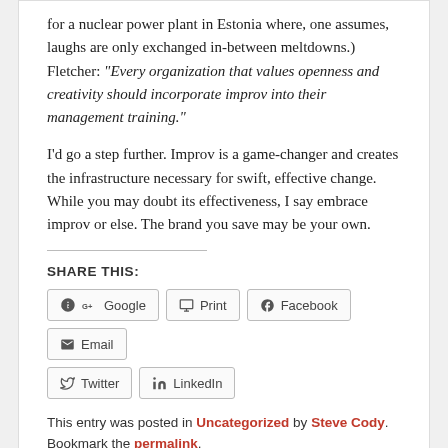for a nuclear power plant in Estonia where, one assumes, laughs are only exchanged in-between meltdowns.) Fletcher: “Every organization that values openness and creativity should incorporate improv into their management training.”
I’d go a step further. Improv is a game-changer and creates the infrastructure necessary for swift, effective change. While you may doubt its effectiveness, I say embrace improv or else. The brand you save may be your own.
SHARE THIS:
This entry was posted in Uncategorized by Steve Cody. Bookmark the permalink.